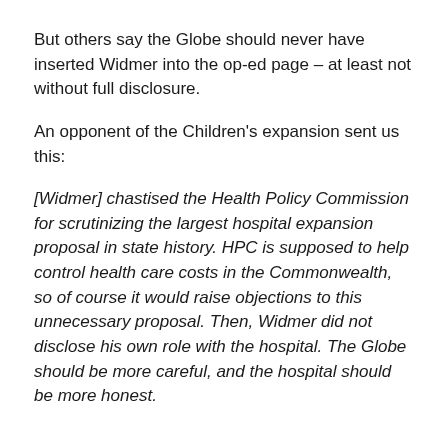But others say the Globe should never have inserted Widmer into the op-ed page – at least not without full disclosure.
An opponent of the Children's expansion sent us this:
[Widmer] chastised the Health Policy Commission for scrutinizing the largest hospital expansion proposal in state history. HPC is supposed to help control health care costs in the Commonwealth, so of course it would raise objections to this unnecessary proposal. Then, Widmer did not disclose his own role with the hospital. The Globe should be more careful, and the hospital should be more honest.